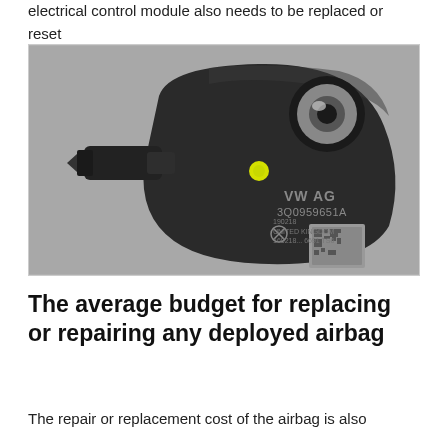electrical control module also needs to be replaced or reset for these purposes.
[Figure (photo): A black VW AG airbag impact sensor (part number 3Q0959651A) with a yellow dot, mounting hole, and QR code label reading 190218 UNITED KINGDOM 160218... 6691 TS6, on a grey background.]
The average budget for replacing or repairing any deployed airbag
The repair or replacement cost of the airbag is also